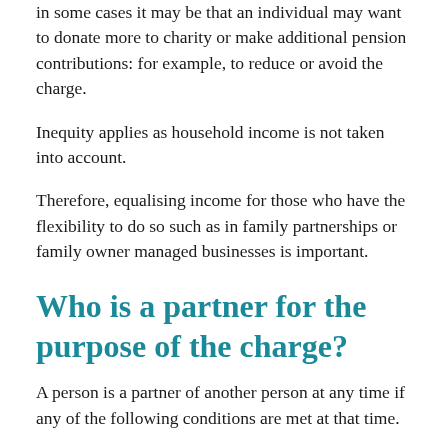in some cases it may be that an individual may want to donate more to charity or make additional pension contributions: for example, to reduce or avoid the charge.
Inequity applies as household income is not taken into account.
Therefore, equalising income for those who have the flexibility to do so such as in family partnerships or family owner managed businesses is important.
Who is a partner for the purpose of the charge?
A person is a partner of another person at any time if any of the following conditions are met at that time.